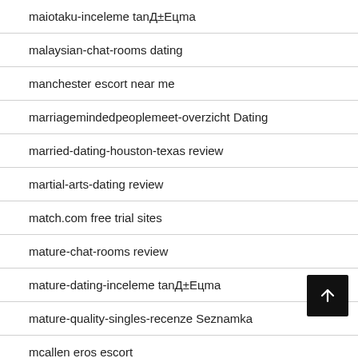maiotaku-inceleme tanД±Eцma
malaysian-chat-rooms dating
manchester escort near me
marriagemindedpeoplemeet-overzicht Dating
married-dating-houston-texas review
martial-arts-dating review
match.com free trial sites
mature-chat-rooms review
mature-dating-inceleme tanД±Eцma
mature-quality-singles-recenze Seznamka
mcallen eros escort